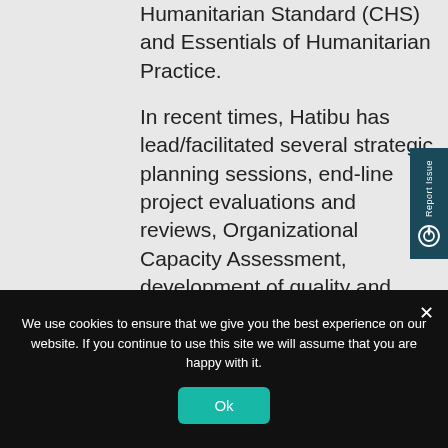Humanitarian Standard (CHS) and Essentials of Humanitarian Practice.
In recent times, Hatibu has lead/facilitated several strategic planning sessions, end-line project evaluations and reviews, Organizational Capacity Assessment, development of quality and accountability
We use cookies to ensure that we give you the best experience on our website. If you continue to use this site we will assume that you are happy with it.